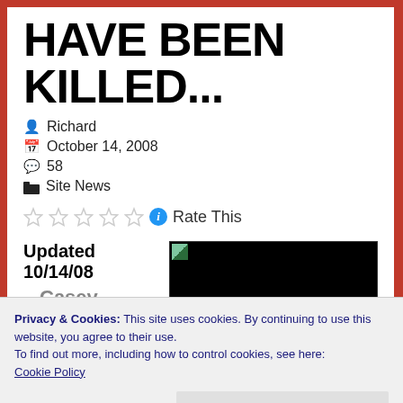HAVE BEEN KILLED...
Richard
October 14, 2008
58
Site News
Rate This
Updated 10/14/08
Casey Anthony
[Figure (photo): Dark/black image with small green corner icon]
Privacy & Cookies: This site uses cookies. By continuing to use this website, you agree to their use.
To find out more, including how to control cookies, see here:
Cookie Policy
Close and accept
including 1st Degree Murder and is in